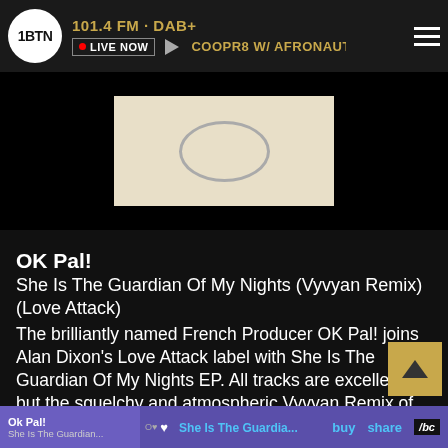101.4 FM · DAB+ | LIVE NOW | COOPR8 W/ AFRONAUT & MAF
[Figure (photo): Album art thumbnail with beige/cream background showing a circular logo outline]
OK Pal!
She Is The Guardian Of My Nights (Vyvyan Remix) (Love Attack)
The brilliantly named French Producer OK Pal! joins Alan Dixon's Love Attack label with She Is The Guardian Of My Nights EP. All tracks are excellent but the squelchy and atmospheric Vyvyan Remix of title track is not to be missed.
Clara Suess (INTER-MISSION)
Ok Pal! She Is The Guardia... buy share /bc